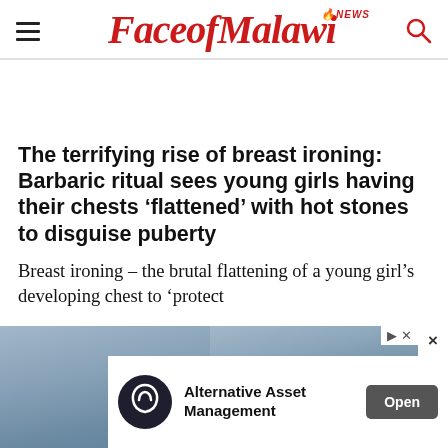FaceofMalawi NEWS
The terrifying rise of breast ironing: Barbaric ritual sees young girls having their chests ‘flattened’ with hot stones to disguise puberty
Breast ironing – the brutal flattening of a young girl’s developing chest to ‘protect
[Figure (photo): Advertisement banner with Alternative Asset Management ad showing a logo, text, and Open button, overlaid on a background photo]
Alternative Asset Management